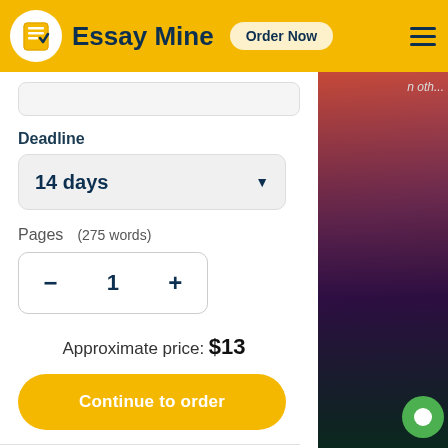Essay Mine  Order Now
Deadline
14 days
Pages   (275 words)
1
Approximate price: $13
Continue to order
Hi Class!
I am fascinated with the amygdala and so this topic of prosocial behavior, and the role of the amygdala in that, was so